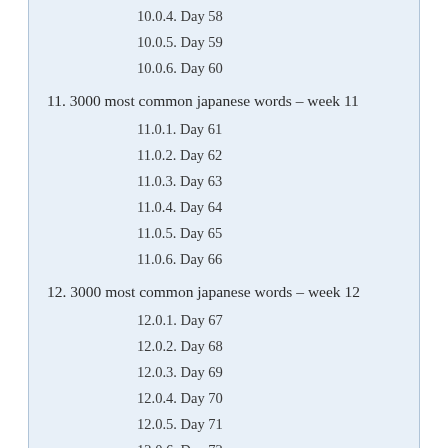10.0.4. Day 58
10.0.5. Day 59
10.0.6. Day 60
11. 3000 most common japanese words – week 11
11.0.1. Day 61
11.0.2. Day 62
11.0.3. Day 63
11.0.4. Day 64
11.0.5. Day 65
11.0.6. Day 66
12. 3000 most common japanese words – week 12
12.0.1. Day 67
12.0.2. Day 68
12.0.3. Day 69
12.0.4. Day 70
12.0.5. Day 71
12.0.6. Day 72
13. 3000 most common japanese words – week 13
13.0.1. Day 73
13.0.2. Day 74
13.0.3. Day 75